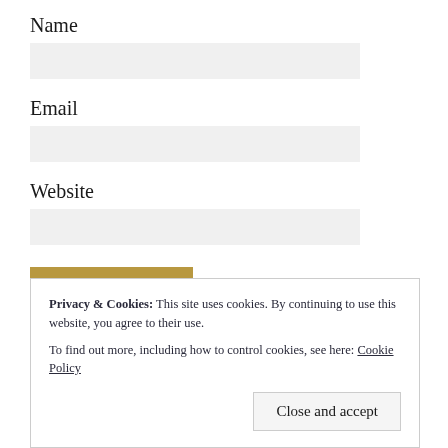Name
[Figure (other): Empty input field for Name]
Email
[Figure (other): Empty input field for Email]
Website
[Figure (other): Empty input field for Website]
Post Comment
Privacy & Cookies: This site uses cookies. By continuing to use this website, you agree to their use.
To find out more, including how to control cookies, see here: Cookie Policy
Close and accept